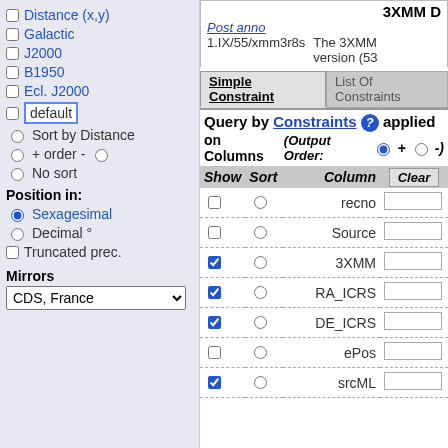Distance (x,y)
Galactic
J2000
B1950
Ecl. J2000
default
Sort by Distance
+ order -
No sort
Position in:
Sexagesimal
Decimal °
Truncated prec.
Mirrors
CDS, France
1.IX/55/xmm3r8s
The 3XMM version (53
Simple Constraint | List Of Constraints
Query by Constraints applied on Columns (Output Order: + -)
| Show | Sort | Column | Clear |
| --- | --- | --- | --- |
| ☐ | ○ | recno |  |
| ☐ | ○ | Source |  |
| ☑ | ○ | 3XMM |  |
| ☑ | ○ | RA_ICRS |  |
| ☑ | ○ | DE_ICRS |  |
| ☐ | ○ | ePos |  |
| ☑ | ○ | srcML |  |